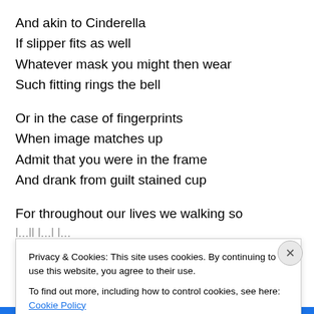And akin to Cinderella
If slipper fits as well
Whatever mask you might then wear
Such fitting rings the bell
Or in the case of fingerprints
When image matches up
Admit that you were in the frame
And drank from guilt stained cup
For throughout our lives we walking so
Privacy & Cookies: This site uses cookies. By continuing to use this website, you agree to their use.
To find out more, including how to control cookies, see here: Cookie Policy
Close and accept